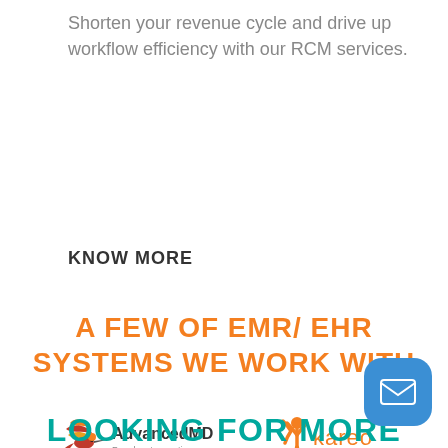Shorten your revenue cycle and drive up workflow efficiency with our RCM services.
KNOW MORE
A FEW OF EMR/ EHR SYSTEMS WE WORK WITH
[Figure (logo): AdvancedMD logo - bird and text 'AdvancedMD Freedom to practice.']
[Figure (logo): Kareo logo - figure with raised arms and text 'kareo Go Practice']
LOOKING FOR MORE